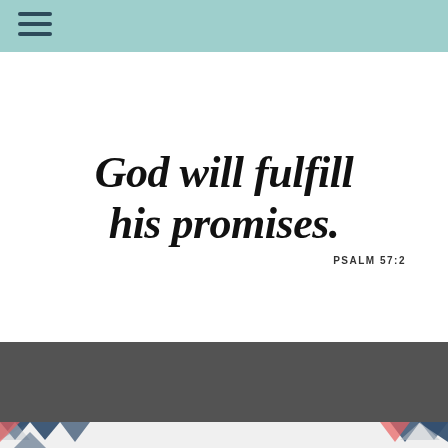[Figure (illustration): Handwritten-style script text reading 'God will fulfill his promises.' with attribution 'PSALM 57:2' below on white background]
Previous post
The Practical Side of Confidence
[Figure (illustration): Geometric chevron/arrow pattern in navy, coral/red, and gray with text 'PRAYER RECENTERS' below]